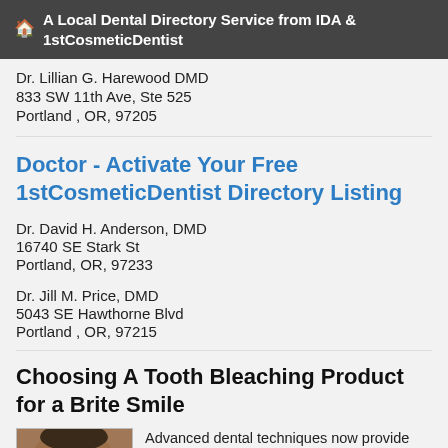A Local Dental Directory Service from IDA & 1stCosmeticDentist
Dr. Lillian G. Harewood DMD
833 SW 11th Ave, Ste 525
Portland , OR, 97205
Doctor - Activate Your Free 1stCosmeticDentist Directory Listing
Dr. David H. Anderson, DMD
16740 SE Stark St
Portland, OR, 97233
Dr. Jill M. Price, DMD
5043 SE Hawthorne Blvd
Portland , OR, 97215
Choosing A Tooth Bleaching Product for a Brite Smile
[Figure (photo): Photo of a smiling man's face (close crop)]
Advanced dental techniques now provide consumers with exciting, new options for enhancing their smiles. Revolutionary...